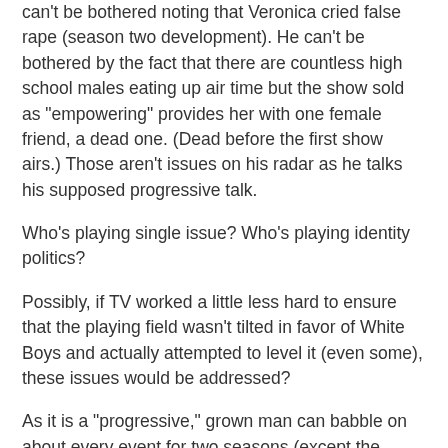can't be bothered noting that Veronica cried false rape (season two development). He can't be bothered by the fact that there are countless high school males eating up air time but the show sold as "empowering" provides her with one female friend, a dead one. (Dead before the first show airs.) Those aren't issues on his radar as he talks his supposed progressive talk.
Who's playing single issue? Who's playing identity politics?
Possibly, if TV worked a little less hard to ensure that the playing field wasn't tilted in favor of White Boys and actually attempted to level it (even some), these issues would be addressed?
As it is a "progressive," grown man can babble on about every event for two seasons (except the whole rape storyline which, again, is how the show was sold: Victim Mars Overcoming!) and not even explore the reality of what's hanging on her body as opposed to what's (occassionally) coming out of her mouth. We wouldn't wax on about the class war supposedly playing out on TV in this show with a